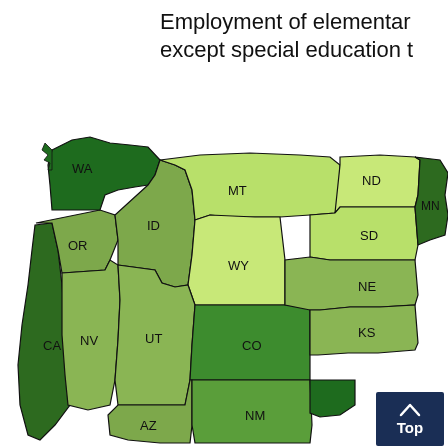Employment of elementary and middle school teachers, except special education teachers, by state
[Figure (map): Choropleth map of the western United States showing employment of elementary and middle school teachers (except special education) by state. States shown include WA, OR, CA, ID, NV, MT, WY, UT, CO, AZ, NM, ND, SD, NE, KS, MN. Colors range from light green (lower employment) to dark green (higher employment). CA and WA appear darkest green.]